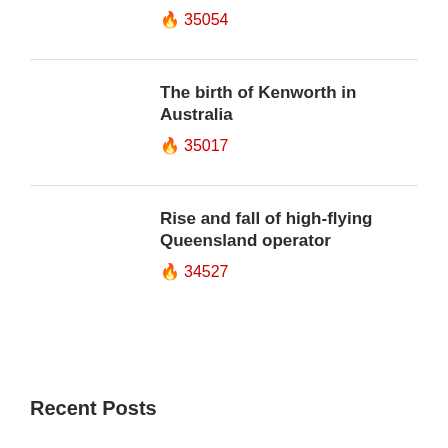🔥 35054
The birth of Kenworth in Australia
🔥 35017
Rise and fall of high-flying Queensland operator
🔥 34527
Recent Posts